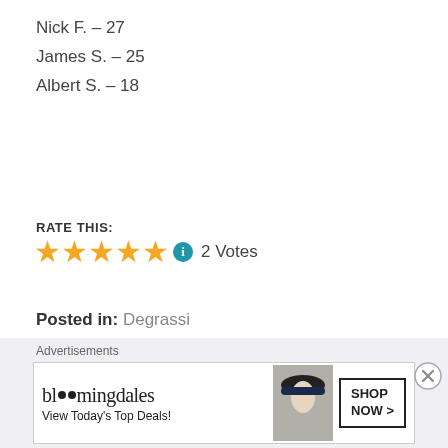Nick F. – 27
James S. – 25
Albert S. – 18
RATE THIS:
[Figure (other): 5 gold stars rating widget with info button and '2 Votes' text]
Posted in: Degrassi
Tagged in: Degrassi
[Figure (other): Bloomingdales advertisement banner: 'View Today's Top Deals!' with SHOP NOW button]